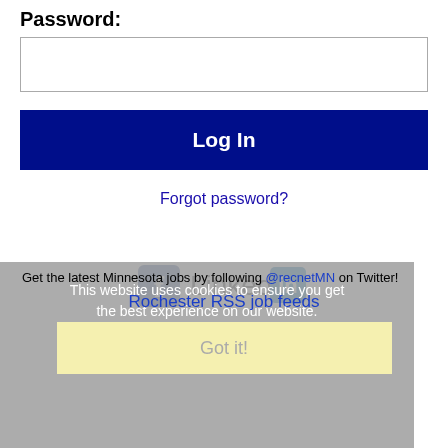Password:
[Figure (screenshot): Password input text field (empty, white background, grey border)]
Log In
Forgot password?
[Figure (logo): Facebook and LinkedIn social media icons side by side]
This website uses cookies to ensure you get the best experience on our website.
Learn more
Get the latest Minnesota jobs by following @recnetMN on Twitter!
Rochester RSS job feeds
Got it!